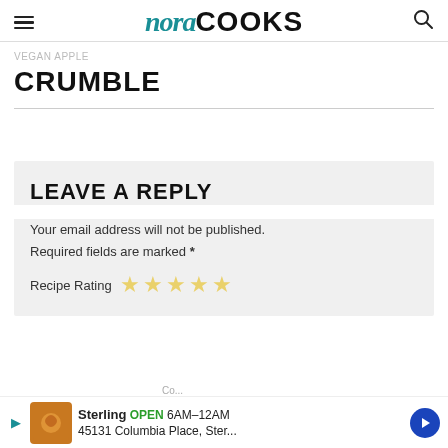nora COOKS
VEGAN APPLE CRUMBLE
LEAVE A REPLY
Your email address will not be published. Required fields are marked *
Recipe Rating ☆☆☆☆☆
Sterling OPEN 6AM–12AM 45131 Columbia Place, Ster...